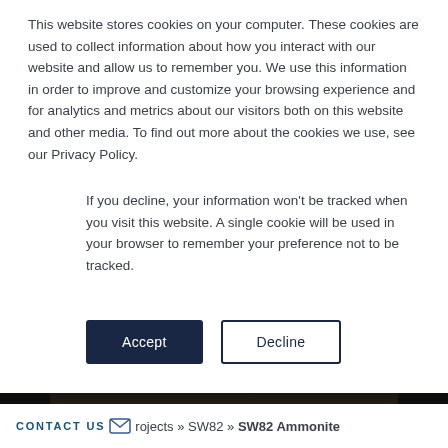This website stores cookies on your computer. These cookies are used to collect information about how you interact with our website and allow us to remember you. We use this information in order to improve and customize your browsing experience and for analytics and metrics about our visitors both on this website and other media. To find out more about the cookies we use, see our Privacy Policy.
If you decline, your information won't be tracked when you visit this website. A single cookie will be used in your browser to remember your preference not to be tracked.
Accept | Decline (buttons)
[Figure (photo): Boat interior cockpit dashboard view with a MORE INFO button overlay in white border]
CONTACT US  Projects » SW82 » SW82 Ammonite